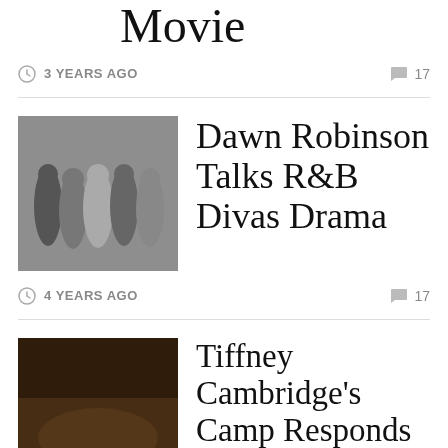Movie
3 YEARS AGO  17
[Figure (photo): Group of women posing together in formal/party attire]
Dawn Robinson Talks R&B Divas Drama
4 YEARS AGO  17
[Figure (photo): People seated at a dinner table in a restaurant]
Tiffney Cambridge's Camp Responds To Love & Hip-Hop: Los Angeles Rumors And The